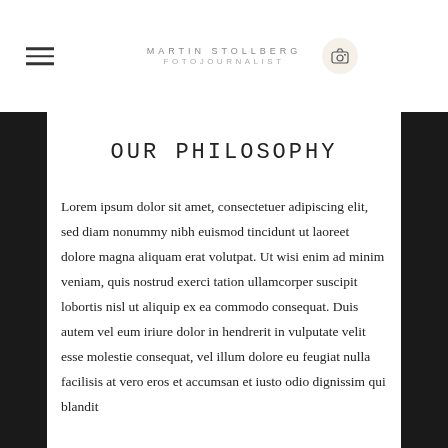MARTIN STOLLBERG FOTOJOURNALIST
OUR PHILOSOPHY
Lorem ipsum dolor sit amet, consectetuer adipiscing elit, sed diam nonummy nibh euismod tincidunt ut laoreet dolore magna aliquam erat volutpat. Ut wisi enim ad minim veniam, quis nostrud exerci tation ullamcorper suscipit lobortis nisl ut aliquip ex ea commodo consequat. Duis autem vel eum iriure dolor in hendrerit in vulputate velit esse molestie consequat, vel illum dolore eu feugiat nulla facilisis at vero eros et accumsan et iusto odio dignissim qui blandit